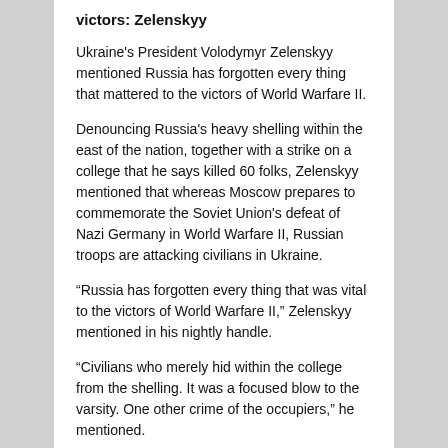victors: Zelenskyy
Ukraine's President Volodymyr Zelenskyy mentioned Russia has forgotten every thing that mattered to the victors of World Warfare II.
Denouncing Russia's heavy shelling within the east of the nation, together with a strike on a college that he says killed 60 folks, Zelenskyy mentioned that whereas Moscow prepares to commemorate the Soviet Union's defeat of Nazi Germany in World Warfare II, Russian troops are attacking civilians in Ukraine.
“Russia has forgotten every thing that was vital to the victors of World Warfare II,” Zelenskyy mentioned in his nightly handle.
“Civilians who merely hid within the college from the shelling. It was a focused blow to the varsity. One other crime of the occupiers,” he mentioned.
On Monday, Russians will mark the 77th anniversary of